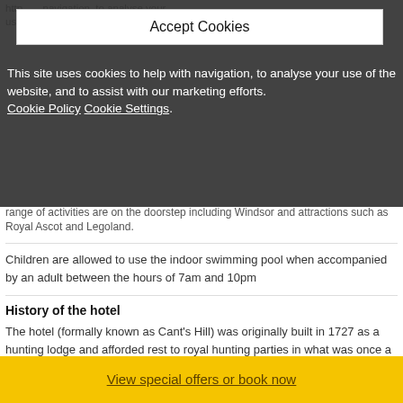Accept Cookies
This site uses cookies to help with navigation, to analyse your use of the website, and to assist with our marketing efforts. Cookie Policy Cookie Settings.
range of activities are on the doorstep including Windsor and attractions such as Royal Ascot and Legoland.
Children are allowed to use the indoor swimming pool when accompanied by an adult between the hours of 7am and 10pm
History of the hotel
The hotel (formally known as Cant's Hill) was originally built in 1727 as a hunting lodge and afforded rest to royal hunting parties in what was once a part of Windsor Great Park.
Dogs Policy
This is not a pet friendly property
View special offers or book now